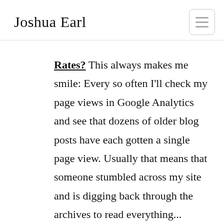Joshua Earl
Rates? This always makes me smile: Every so often I'll check my page views in Google Analytics and see that dozens of older blog posts have each gotten a single page view. Usually that means that someone stumbled across my site and is digging back through the archives to read everything...
4. How 'Adding Value' Can Hurt